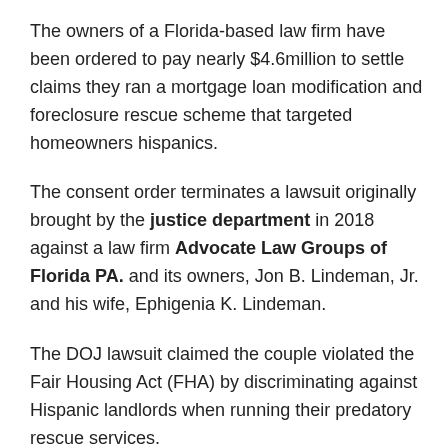The owners of a Florida-based law firm have been ordered to pay nearly $4.6million to settle claims they ran a mortgage loan modification and foreclosure rescue scheme that targeted homeowners hispanics.
The consent order terminates a lawsuit originally brought by the justice department in 2018 against a law firm Advocate Law Groups of Florida PA. and its owners, Jon B. Lindeman, Jr. and his wife, Ephigenia K. Lindeman.
The DOJ lawsuit claimed the couple violated the Fair Housing Act (FHA) by discriminating against Hispanic landlords when running their predatory rescue services.
According to the DOJ, from 2009 to 2015, Lindeman and his wife targeted Hispanic homeowners through Spanish-language